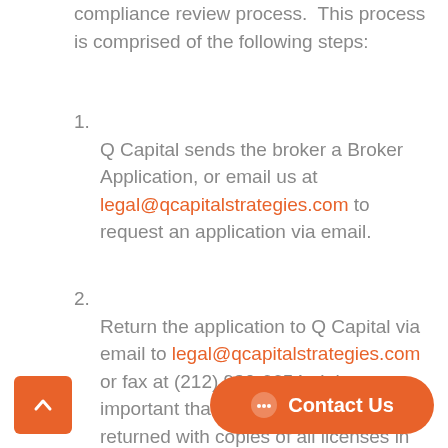compliance review process. This process is comprised of the following steps:
1. Q Capital sends the broker a Broker Application, or email us at legal@qcapitalstrategies.com to request an application via email.
2. Return the application to Q Capital via email to legal@qcapitalstrategies.com or fax at (212) 980-6654. It is important that the application is returned with copies of all licenses in order to expedite the approval process.
3. Q Capital's broker department reviews...